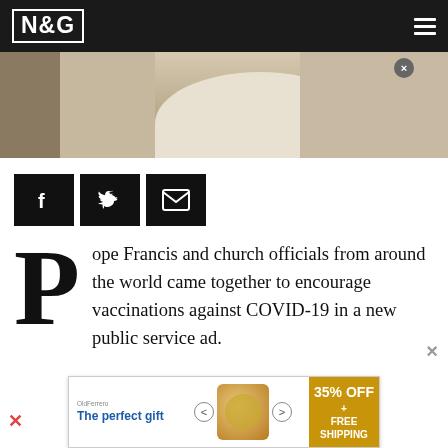N&G
[Figure (photo): Partial view of a person in white papal vestments, cropped close-up with a small circular close button in upper right]
[Figure (infographic): Three black social sharing buttons: Facebook (f icon), Twitter (bird icon), Email (envelope icon)]
Pope Francis and church officials from around the world came together to encourage vaccinations against COVID-19 in a new public service ad.
[Figure (infographic): Advertisement banner: 'The perfect gift' with navigation arrows, food image, and '35% OFF + FREE SHIPPING' in gold background]